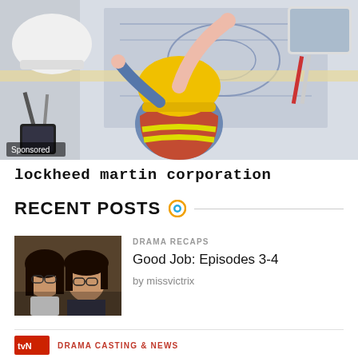[Figure (photo): Overhead view of a construction worker wearing a yellow hard hat and orange reflective vest, pointing at blueprints on a table with a white hard hat, phone, tablet, and pencils visible. 'Sponsored' label in bottom-left corner.]
lockheed martin corporation
RECENT POSTS
[Figure (photo): Thumbnail photo of two people, one woman wearing glasses and one man wearing glasses, appearing to be from a Korean drama.]
DRAMA RECAPS
Good Job: Episodes 3-4
by missvictrix
DRAMA CASTING & NEWS